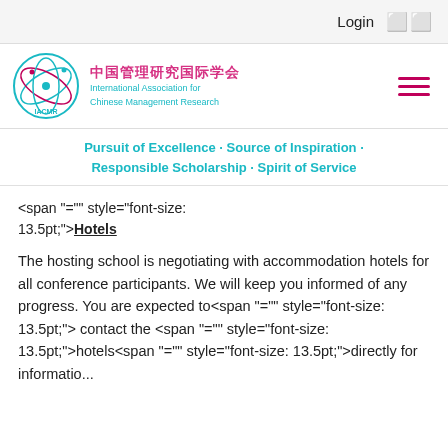Login
[Figure (logo): IACMR logo with circular graphic and Chinese/English text: 中国管理研究国际学会 International Association for Chinese Management Research]
Pursuit of Excellence · Source of Inspiration · Responsible Scholarship · Spirit of Service
<span "="" style="font-size: 13.5pt;">Hotels
The hosting school is negotiating with accommodation hotels for all conference participants. We will keep you informed of any progress. You are expected to<span "="" style="font-size: 13.5pt;"> contact the <span "="" style="font-size: 13.5pt;">hotels<span "="" style="font-size: 13.5pt;">directly for information